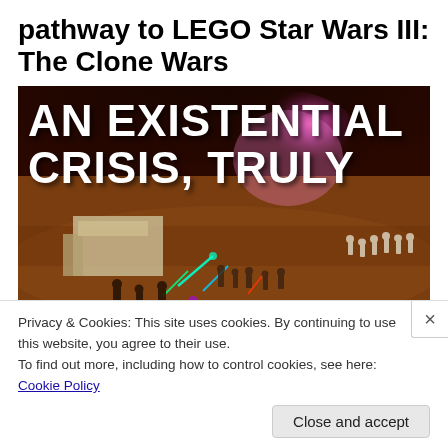pathway to LEGO Star Wars III: The Clone Wars
[Figure (screenshot): Screenshot from LEGO Star Wars III: The Clone Wars game showing a battle scene on a reddish-brown desert planet with the text 'AN EXISTENTIAL CRISIS, TRULY' overlaid in large white Impact-style font. The scene shows LEGO clone troopers and battle droids fighting, with a pink glowing dome structure in the background and lightsaber effects visible.]
Privacy & Cookies: This site uses cookies. By continuing to use this website, you agree to their use.
To find out more, including how to control cookies, see here: Cookie Policy
Close and accept